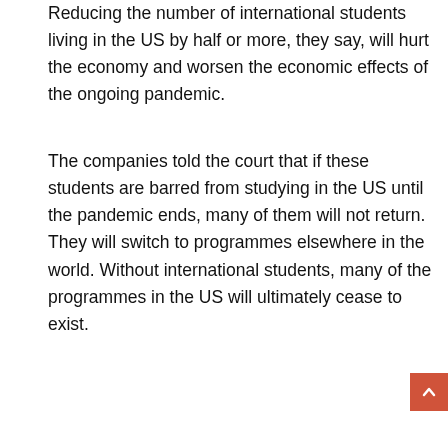Reducing the number of international students living in the US by half or more, they say, will hurt the economy and worsen the economic effects of the ongoing pandemic.
The companies told the court that if these students are barred from studying in the US until the pandemic ends, many of them will not return. They will switch to programmes elsewhere in the world. Without international students, many of the programmes in the US will ultimately cease to exist.
[Figure (screenshot): Teal/cyan banner with text 'Watch in Sign Language' above a video thumbnail showing a woman's face with an orange circular logo and text 'Major US tech companies jo...']